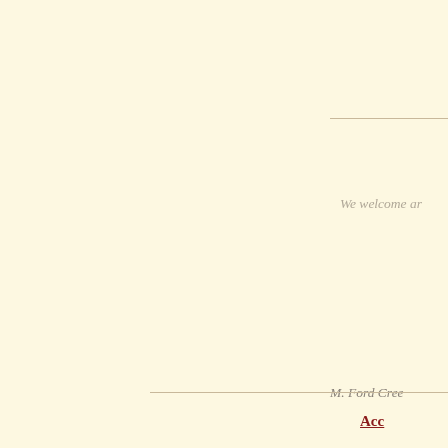We welcome ar
M. Ford Cree
Acc